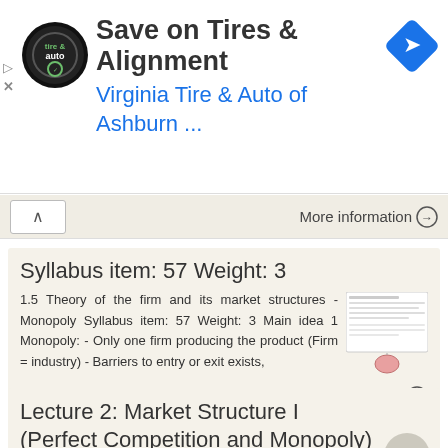[Figure (screenshot): Advertisement banner for Virginia Tire & Auto of Ashburn with logo and directional arrow icon]
More information →
Syllabus item: 57 Weight: 3
1.5 Theory of the firm and its market structures - Monopoly Syllabus item: 57 Weight: 3 Main idea 1 Monopoly: - Only one firm producing the product (Firm = industry) - Barriers to entry or exit exists,
More information →
Lecture 2: Market Structure I (Perfect Competition and Monopoly)
Lecture 2: Market Structure I (Perfect